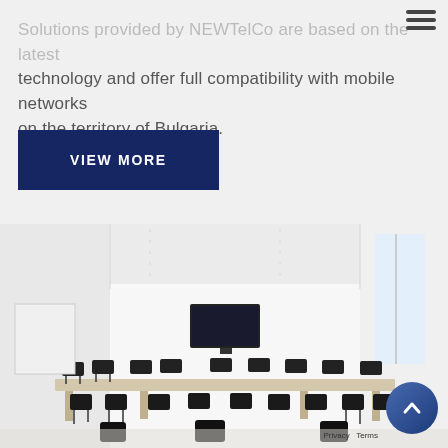Solutions provided by NEWTelCo are based on the latest technology and offer full compatibility with mobile networks on the territory of Bulgaria.
VIEW MORE
[Figure (photo): Conference room with a long white table, black chairs, and a wall-mounted TV screen in a bright white interior space.]
Privacy   Terms